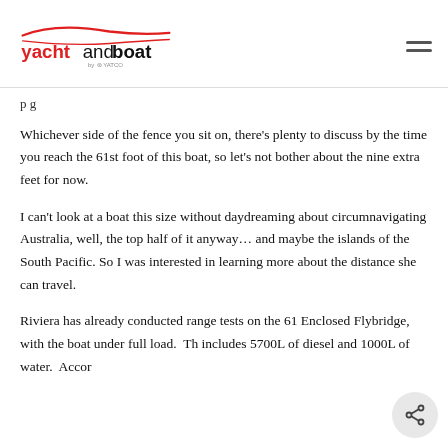yachtandboat by YATCO
p g
Whichever side of the fence you sit on, there's plenty to discuss by the time you reach the 61st foot of this boat, so let's not bother about the nine extra feet for now.
I can't look at a boat this size without daydreaming about circumnavigating Australia, well, the top half of it anyway… and maybe the islands of the South Pacific. So I was interested in learning more about the distance she can travel.
Riviera has already conducted range tests on the 61 Enclosed Flybridge, with the boat under full load.  Th includes 5700L of diesel and 1000L of water.  Accor